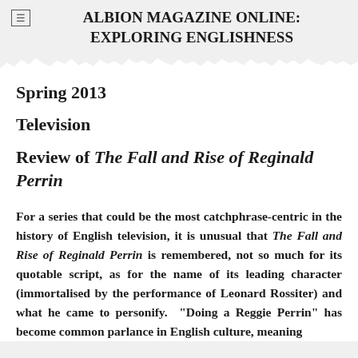ALBION MAGAZINE ONLINE: EXPLORING ENGLISHNESS
Spring 2013
Television
Review of The Fall and Rise of Reginald Perrin
For a series that could be the most catchphrase-centric in the history of English television, it is unusual that The Fall and Rise of Reginald Perrin is remembered, not so much for its quotable script, as for the name of its leading character (immortalised by the performance of Leonard Rossiter) and what he came to personify.  "Doing a Reggie Perrin" has become common parlance in English culture, meaning